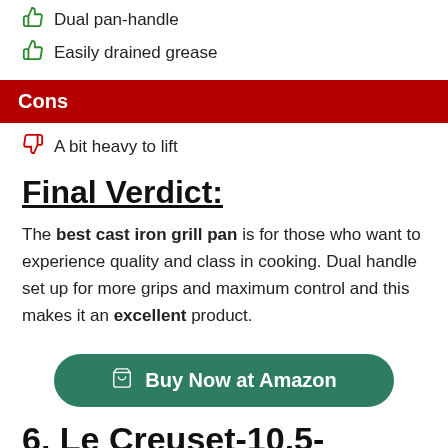Dual pan-handle
Easily drained grease
Cons
A bit heavy to lift
Final Verdict:
The best cast iron grill pan is for those who want to experience quality and class in cooking. Dual handle set up for more grips and maximum control and this makes it an excellent product.
[Figure (other): Green rounded button with shopping cart icon: Buy Now at Amazon]
6. Le Creuset-10.5-inches